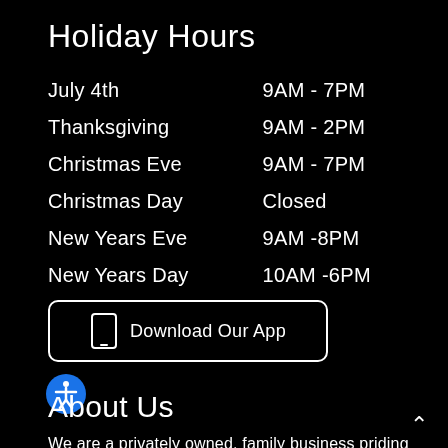Holiday Hours
| Holiday | Hours |
| --- | --- |
| July 4th | 9AM - 7PM |
| Thanksgiving | 9AM - 2PM |
| Christmas Eve | 9AM - 7PM |
| Christmas Day | Closed |
| New Years Eve | 9AM -8PM |
| New Years Day | 10AM -6PM |
[Figure (other): Download Our App button with phone icon, white border rounded rectangle]
[Figure (other): Blue accessibility icon (person with arms outstretched in circle)]
About Us
We are a privately owned, family business priding